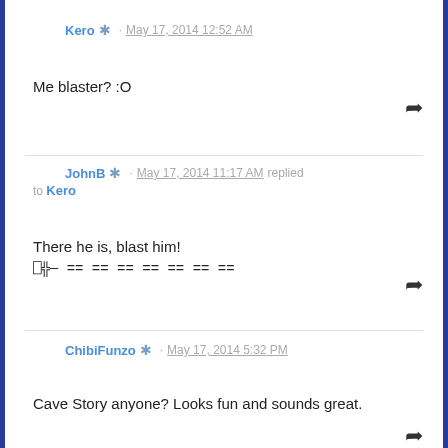Kero · May 17, 2014 12:52 AM
Me blaster? :O
JohnB · May 17, 2014 11:17 AM replied to Kero
There he is, blast him!
[gun emoji] == == == == == == ==
ChibiFunzo · May 17, 2014 5:32 PM
Cave Story anyone? Looks fun and sounds great.